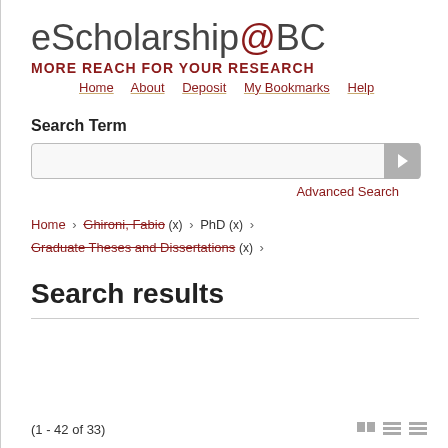eScholarship@BC
MORE REACH FOR YOUR RESEARCH
Home   About   Deposit   My Bookmarks   Help
Search Term
Advanced Search
Home › Ghironi, Fabio (x) › PhD (x) › Graduate Theses and Dissertations (x) ›
Search results
(1 - 42 of 33)